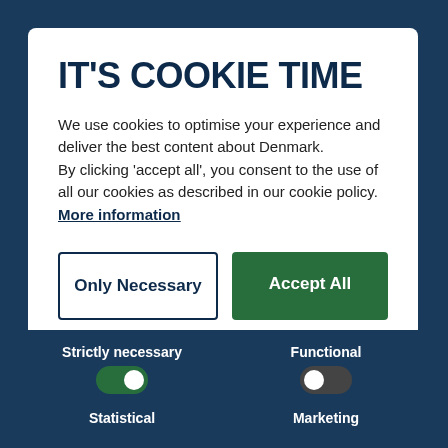IT'S COOKIE TIME
We use cookies to optimise your experience and deliver the best content about Denmark.
By clicking 'accept all', you consent to the use of all our cookies as described in our cookie policy.
More information
Only Necessary
Accept All
Show details
Strictly necessary
Functional
Statistical
Marketing